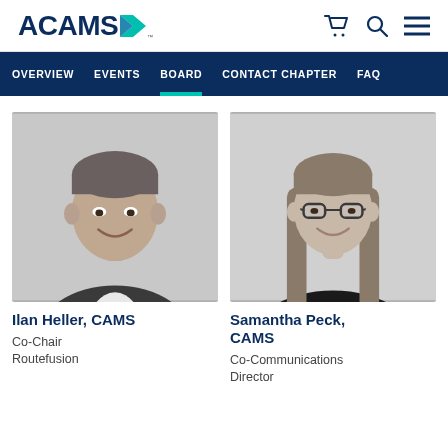ACAMS
OVERVIEW  EVENTS  BOARD  CONTACT CHAPTER  FAQ
[Figure (photo): Black and white headshot of Ilan Heller, a middle-aged man in a suit jacket, smiling]
Ilan Heller, CAMS
Co-Chair
Routefusion
[Figure (photo): Black and white headshot of Samantha Peck, a young woman with long straight hair and glasses, smiling]
Samantha Peck, CAMS
Co-Communications
Director